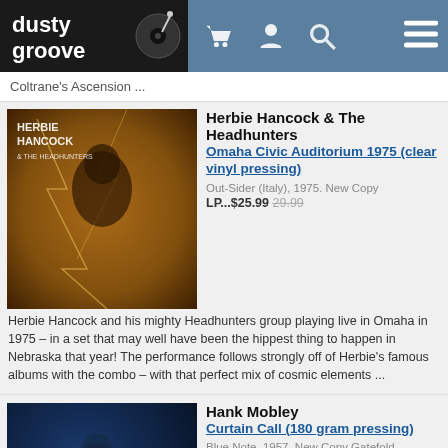dusty groove
Coltrane's Ascension ...
Herbie Hancock & The Headhunters
Omaha Civic Auditorium 1975 (clear vinyl pressing)
Out-Sider (Italy), 1975. New Copy
LP...$25.99  29.99
Herbie Hancock and his mighty Headhunters group playing live in Omaha in 1975 – in a set that may well have been the hippest thing to happen in Nebraska that year! The performance follows strongly off of Herbie's famous albums with the combo – with that perfect mix of cosmic elements ...
Hank Mobley
Curtain Call (180 gram pressing)
Blue Note, 1957. New Copy Gatefold (reissue)
LP...$36.99  38.99
An all-star quintet session from tenor genius Hank Mobley – originally recorded during his classic run for Blue Note in the late 50s – but then unissued for decades, until a CD-only appearance in Japan many years later! Hank's in tremendous young formation here – blowing with ...
Masayuki Takayanagi & New Direction
Station 70 – Call In Question/Live Independence